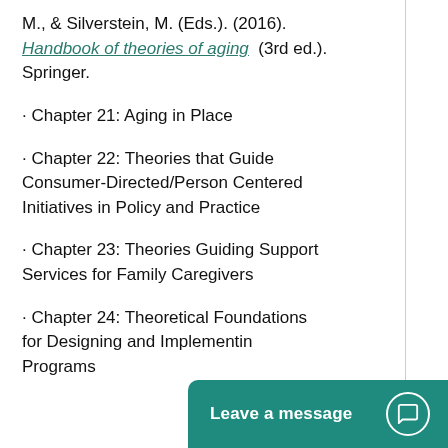M., & Silverstein, M. (Eds.). (2016). Handbook of theories of aging (3rd ed.). Springer.
· Chapter 21: Aging in Place
· Chapter 22: Theories that Guide Consumer-Directed/Person Centered Initiatives in Policy and Practice
· Chapter 23: Theories Guiding Support Services for Family Caregivers
· Chapter 24: Theoretical Foundations for Designing and Implementing Programs